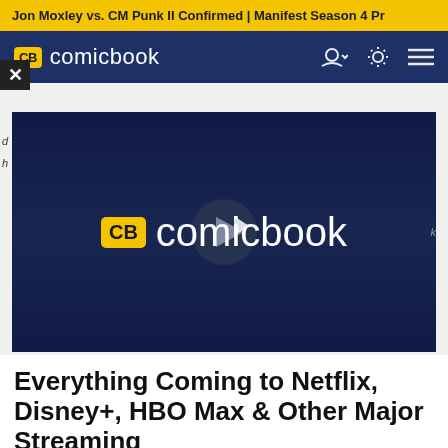Jon Moxley vs. CM Punk II Confirmed | Manifest Season 4 Pr...
CB comicbook
[Figure (screenshot): Comicbook.com video player with dark navy background showing the CB comicbook logo with yellow badge and play button overlay]
Everything Coming to Netflix, Disney+, HBO Max & Other Major Streaming